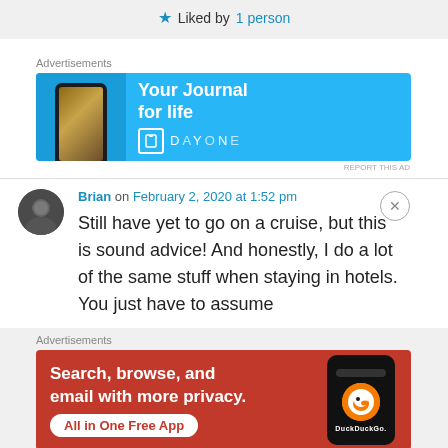★ Liked by 1 person
[Figure (screenshot): Advertisement banner: DayOne 'Your Journal for life' app ad with blue background]
Brian on February 2, 2020 at 1:52 pm
Still have yet to go on a cruise, but this is sound advice! And honestly, I do a lot of the same stuff when staying in hotels. You just have to assume
[Figure (screenshot): Advertisement banner: DuckDuckGo 'Search, browse, and email with more privacy. All in One Free App' on orange background]